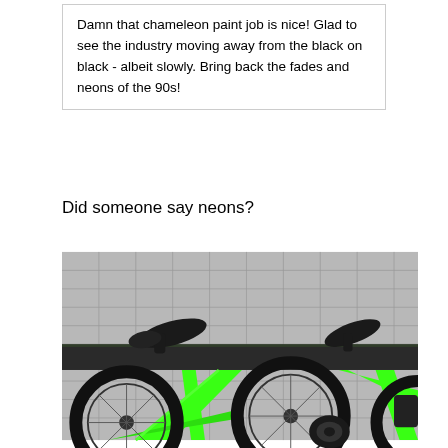Damn that chameleon paint job is nice! Glad to see the industry moving away from the black on black - albeit slowly. Bring back the fades and neons of the 90s!
Did someone say neons?
[Figure (photo): Photo of a neon green road bicycle leaning against a bike rack with dark metal rail, in front of a grey tile wall. Two black saddles are visible above the rail, and the bright green carbon frame and black wheels are visible below.]